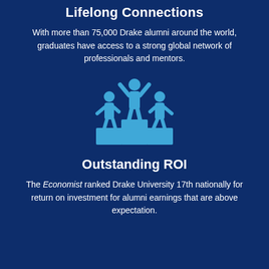Lifelong Connections
With more than 75,000 Drake alumni around the world, graduates have access to a strong global network of professionals and mentors.
[Figure (illustration): Icon of three human figures on a podium/award stand, rendered in blue, with the center figure raised with arms raised in victory]
Outstanding ROI
The Economist ranked Drake University 17th nationally for return on investment for alumni earnings that are above expectation.